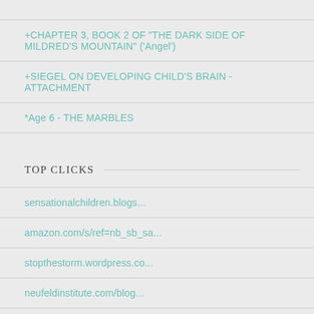+CHAPTER 3, BOOK 2 OF "THE DARK SIDE OF MILDRED'S MOUNTAIN" ('Angel')
+SIEGEL ON DEVELOPING CHILD'S BRAIN - ATTACHMENT
*Age 6 - THE MARBLES
TOP CLICKS
sensationalchildren.blogs...
amazon.com/s/ref=nb_sb_sa...
stopthestorm.wordpress.co...
neufeldinstitute.com/blog...